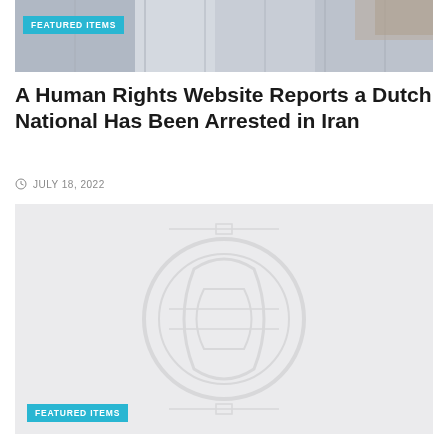[Figure (photo): Top banner image showing a building exterior with architectural details, partially visible. Has a 'FEATURED ITEMS' cyan badge overlay in the top-left corner.]
A Human Rights Website Reports a Dutch National Has Been Arrested in Iran
JULY 18, 2022
[Figure (photo): Large light gray placeholder image with a faint watermark/logo in the center. Has a 'FEATURED ITEMS' cyan badge overlay in the bottom-left corner.]